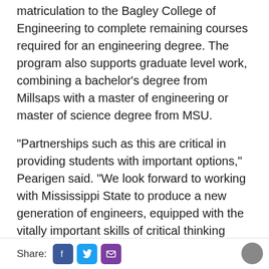matriculation to the Bagley College of Engineering to complete remaining courses required for an engineering degree. The program also supports graduate level work, combining a bachelor's degree from Millsaps with a master of engineering or master of science degree from MSU.
“Partnerships such as this are critical in providing students with important options,” Pearigen said. “We look forward to working with Mississippi State to produce a new generation of engineers, equipped with the vitally important skills of critical thinking combined with the sciences, who can enter the workforce ready to succeed.”
The agreement is effective immediately.
Share: